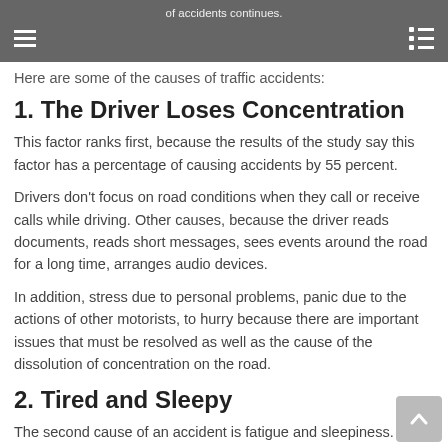of accidents continues.
Here are some of the causes of traffic accidents:
1. The Driver Loses Concentration
This factor ranks first, because the results of the study say this factor has a percentage of causing accidents by 55 percent.
Drivers don't focus on road conditions when they call or receive calls while driving. Other causes, because the driver reads documents, reads short messages, sees events around the road for a long time, arranges audio devices.
In addition, stress due to personal problems, panic due to the actions of other motorists, to hurry because there are important issues that must be resolved as well as the cause of the dissolution of concentration on the road.
2. Tired and Sleepy
The second cause of an accident is fatigue and sleepiness. Both have a percentage causing accidents of up to 45 percent.